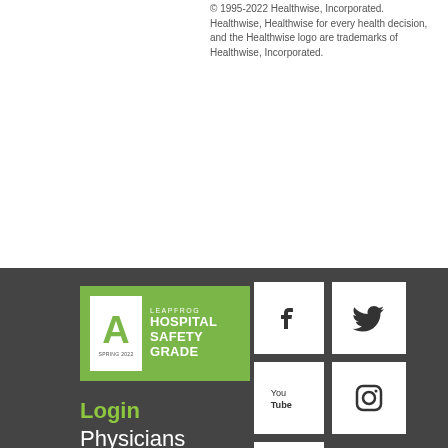© 1995-2022 Healthwise, Incorporated. Healthwise, Healthwise for every health decision, and the Healthwise logo are trademarks of Healthwise, Incorporated.
[Figure (logo): Leapfrog Hospital Safety Grade A, Spring 2022, green badge]
Login
Physicians
[Figure (infographic): Social media icons: Facebook, Twitter, YouTube, Instagram, LinkedIn]